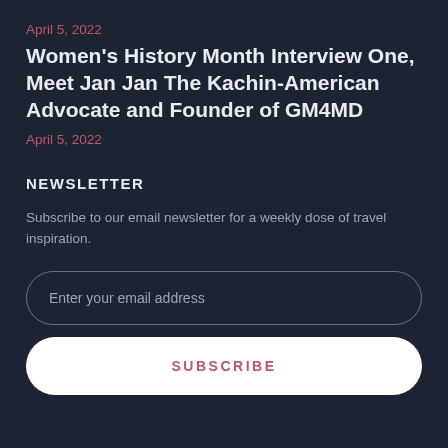April 5, 2022
Women's History Month Interview One, Meet Jan Jan The Kachin-American Advocate and Founder of GM4MD
April 5, 2022
NEWSLETTER
Subscribe to our email newsletter for a weekly dose of travel inspiration.
Enter your email address
SUBSCRIBE